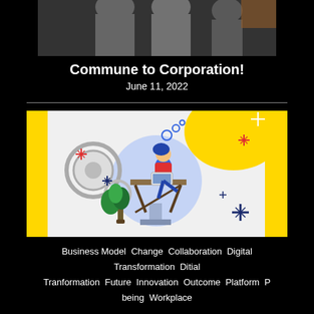[Figure (photo): Cropped photo showing backs of people in gray shirts, dark background]
Commune to Corporation!
June 11, 2022
[Figure (illustration): Colorful illustration with yellow background, person working on laptop at a desk inside a lightbulb shape with blue circles, gears, plant, and sparkle stars in red, blue, and navy]
Business Model  Change  Collaboration  Digital Transformation  Ditial Tranformation  Future  Innovation  Outcome  Platform  P being  Workplace